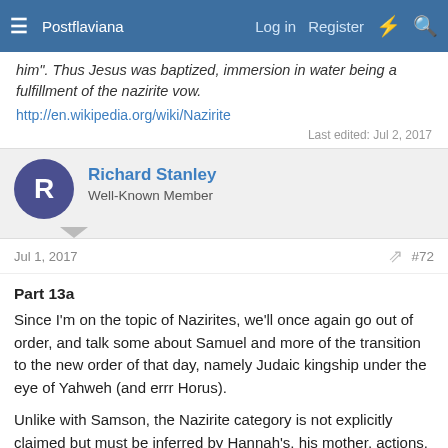Postflaviana  Log in  Register
him". Thus Jesus was baptized, immersion in water being a fulfillment of the nazirite vow.
http://en.wikipedia.org/wiki/Nazirite
Last edited: Jul 2, 2017
Richard Stanley
Well-Known Member
Jul 1, 2017  #72
Part 13a
Since I'm on the topic of Nazirites, we'll once again go out of order, and talk some about Samuel and more of the transition to the new order of that day, namely Judaic kingship under the eye of Yahweh (and errr Horus).

Unlike with Samson, the Nazirite category is not explicitly claimed but must be inferred by Hannah's, his mother, actions. With another familiar theme, Samuel's father, Elkanah, has two